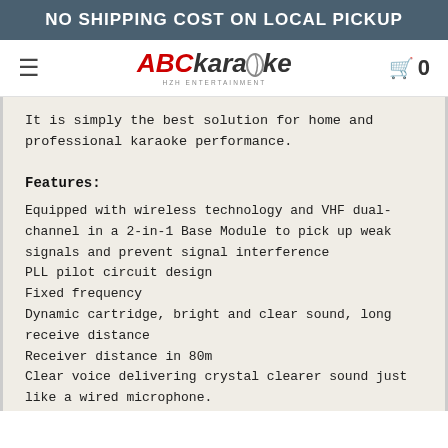NO SHIPPING COST ON LOCAL PICKUP
[Figure (logo): ABCkaraoke logo with red ABC and grey karaoke text, tagline HZH ENTERTAINMENT]
It is simply the best solution for home and professional karaoke performance.
Features:
Equipped with wireless technology and VHF dual-channel in a 2-in-1 Base Module to pick up weak signals and prevent signal interference
PLL pilot circuit design
Fixed frequency
Dynamic cartridge, bright and clear sound, long receive distance
Receiver distance in 80m
Clear voice delivering crystal clearer sound just like a wired microphone.
Light weight mounting design for portability